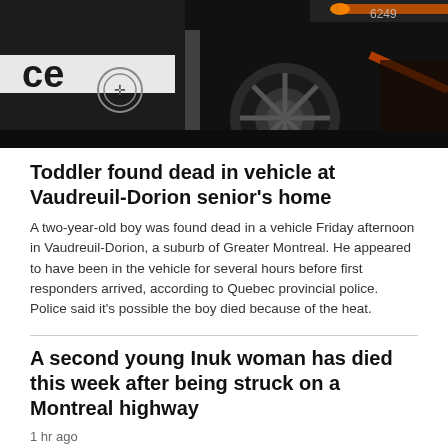[Figure (photo): Close-up photo of a police vehicle wheel/hub area with orange reflective tape or light visible, dark background, number 6249 visible]
Toddler found dead in vehicle at Vaudreuil-Dorion senior's home
A two-year-old boy was found dead in a vehicle Friday afternoon in Vaudreuil-Dorion, a suburb of Greater Montreal. He appeared to have been in the vehicle for several hours before first responders arrived, according to Quebec provincial police. Police said it's possible the boy died because of the heat.
A second young Inuk woman has died this week after being struck on a Montreal highway
1 hr ago
Thousands left without power as thunderstorms rumble southern Quebec